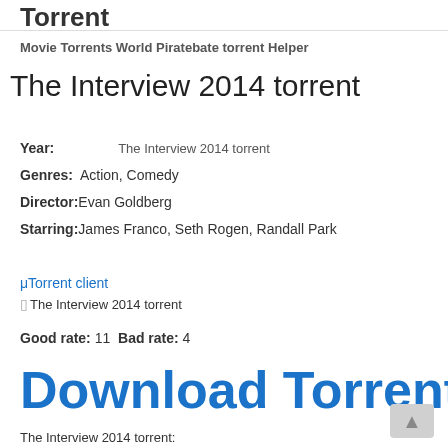Torrent
Movie Torrents World Piratebate torrent Helper
The Interview 2014 torrent
Year: The Interview 2014 torrent
Genres: Action, Comedy
Director: Evan Goldberg
Starring: James Franco, Seth Rogen, Randall Park
μTorrent client
[Figure (other): Broken image placeholder for The Interview 2014 torrent]
Good rate: 11 Bad rate: 4
Download Torrent
The Interview 2014 torrent: